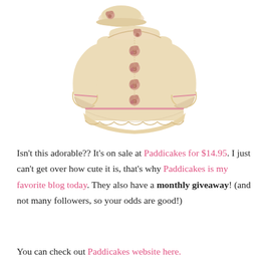[Figure (photo): A cream/beige colored children's coat with pink rose button embellishments down the front, ruffled hem trim with pink ribbon detail, ruffled cuffs, and a matching beige beret hat with a pink rose accent. The coat has a peter pan collar with rose detail. Displayed on a white background.]
Isn't this adorable??  It's on sale at Paddicakes for $14.95.  I just can't get over how cute it is, that's why Paddicakes is my favorite blog today.  They also have a monthly giveaway! (and not many followers, so your odds are good!)
You can check out Paddicakes website here.